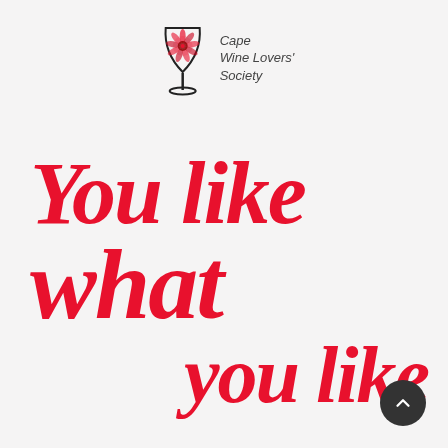[Figure (logo): Cape Wine Lovers' Society logo: a stylized wine glass with a protea flower inside, next to the text 'Cape Wine Lovers' Society' in italic handwritten font]
You like what you like